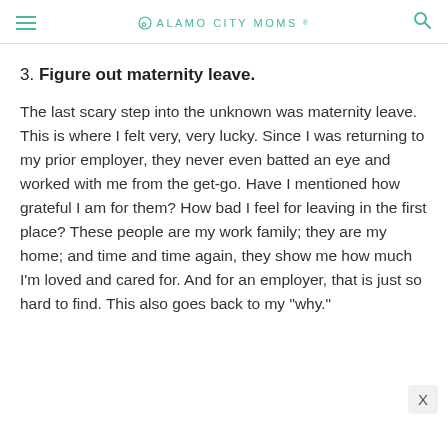ALAMO CITY MOMS
3. Figure out maternity leave.
The last scary step into the unknown was maternity leave. This is where I felt very, very lucky. Since I was returning to my prior employer, they never even batted an eye and worked with me from the get-go. Have I mentioned how grateful I am for them? How bad I feel for leaving in the first place? These people are my work family; they are my home; and time and time again, they show me how much I'm loved and cared for. And for an employer, that is just so hard to find. This also goes back to my “why.”